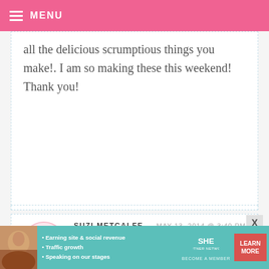MENU
all the delicious scrumptious things you make!. I am so making these this weekend! Thank you!
SUZI METCALFE — MAY 13, 2014 @ 3:40 PM
REPLY
I have a tree full of lemons just calling to be squeezed! Oh, yeah! Thank you!
SAMINA | THE CUPCAKE CONFESSION
[Figure (infographic): SHE Partner Network advertisement banner with avatar, bullet points, logo, and Learn More button]